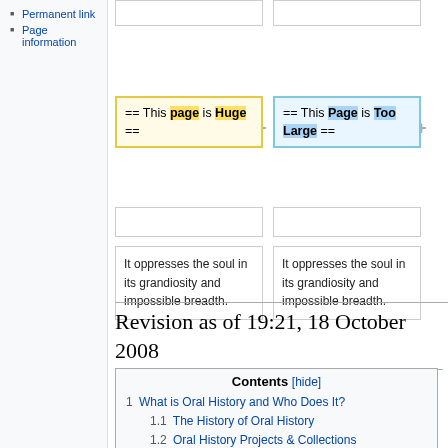Permanent link
Page information
[Figure (screenshot): Wikipedia diff view showing two versions of a page section. Left (minus) box shows yellow highlighted text: == This page is Huge == Right (plus) box shows blue highlighted text: == This Page is Too Large == Both boxes followed by gray empty cells and text cells reading 'It oppresses the soul in its grandiosity and impossible breadth.']
Revision as of 19:21, 18 October 2008
| Contents [hide] |
| --- |
| 1 What is Oral History and Who Does It? |
| 1.1 The History of Oral History |
| 1.2 Oral History Projects & Collections |
| 1.3 Who is it For? Interviewing Elites versus Common People |
| 1.4 Impact of Oral History on the Individual and Community |
| 2 What is Ethics and Editing? |